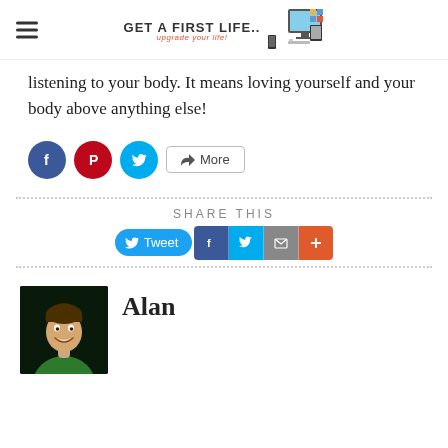Get A First Life — upgrade your life!
listening to your body. It means loving yourself and your body above anything else!
[Figure (other): Social share buttons: Facebook (blue circle), Pinterest (red circle), Twitter (cyan circle), and a More button with share icon]
[Figure (other): Share This section with Tweet button, Facebook square, Twitter square, Email square, and Plus/More square buttons]
Alan
[Figure (photo): Photo of a smiling young man wearing a green shirt, dark background]